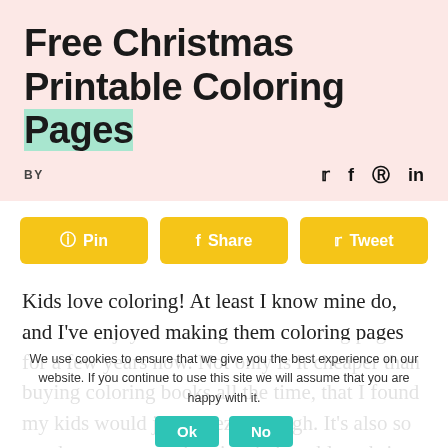Free Christmas Printable Coloring Pages
BY
Pin  Share  Tweet
Kids love coloring! At least I know mine do, and I've enjoyed making them coloring pages for a few years now. Not only is it cheaper than buying coloring books all the time, that I found my kids would just breeze through. It's also so much more convenient just being able to bring out some pages and save them!
We use cookies to ensure that we give you the best experience on our website. If you continue to use this site we will assume that you are happy with it.